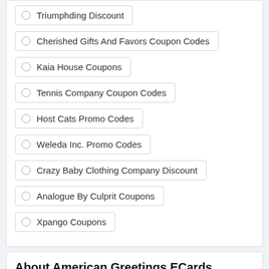Triumphding Discount
Cherished Gifts And Favors Coupon Codes
Kaia House Coupons
Tennis Company Coupon Codes
Host Cats Promo Codes
Weleda Inc. Promo Codes
Crazy Baby Clothing Company Discount
Analogue By Culprit Coupons
Xpango Coupons
About American Greetings ECards